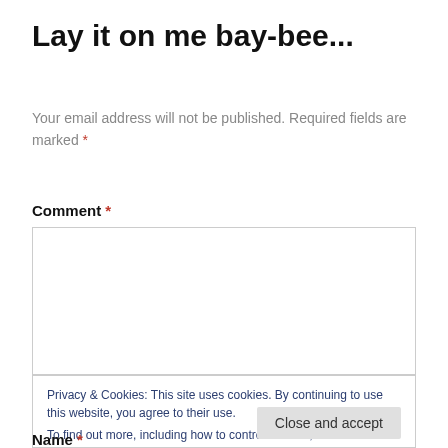Lay it on me bay-bee...
Your email address will not be published. Required fields are marked *
Comment *
[Figure (other): Empty comment text area input box with grey border]
Privacy & Cookies: This site uses cookies. By continuing to use this website, you agree to their use.
To find out more, including how to control cookies, see here: Cookie Policy
Close and accept
Name *